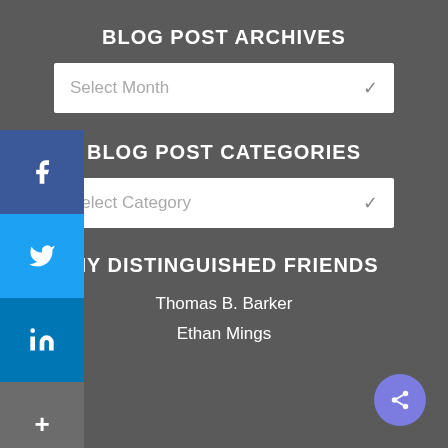BLOG POST ARCHIVES
Select Month
BLOG POST CATEGORIES
Select Category
MY DISTINGUISHED FRIENDS
Thomas B. Barker
Ethan Mings